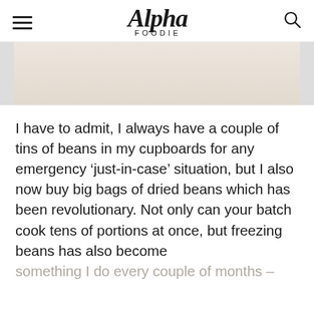Alpha Foodie
[Figure (photo): Partial view of a food image with a light beige/cream background]
I have to admit, I always have a couple of tins of beans in my cupboards for any emergency ‘just-in-case’ situation, but I also now buy big bags of dried beans which has been revolutionary. Not only can your batch cook tens of portions at once, but freezing beans has also become something I do every couple of months –